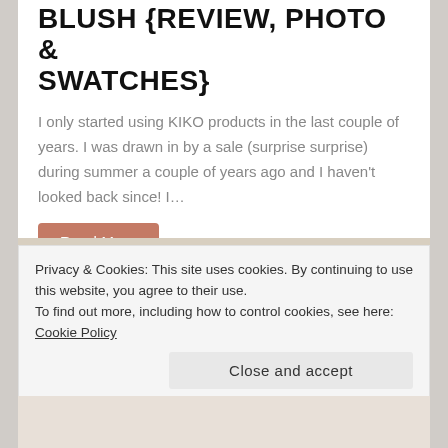BLUSH {REVIEW, PHOTO & SWATCHES}
I only started using KIKO products in the last couple of years. I was drawn in by a sale (surprise surprise) during summer a couple of years ago and I haven't looked back since! I…
Read More
[Figure (photo): Photograph of a ornate stone building exterior, taken from below at an angle, showing classical architectural details including arched windows, columns, and decorative stonework.]
Privacy & Cookies: This site uses cookies. By continuing to use this website, you agree to their use.
To find out more, including how to control cookies, see here: Cookie Policy
Close and accept